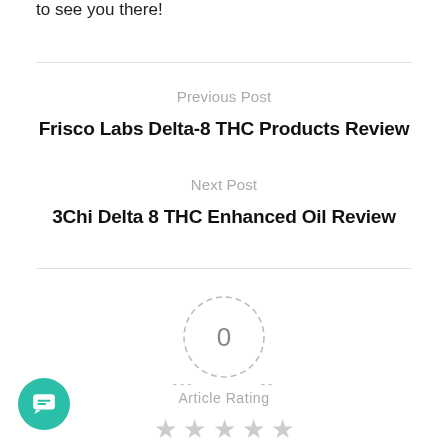to see you there!
Previous Post
Frisco Labs Delta-8 THC Products Review
Next Post
3Chi Delta 8 THC Enhanced Oil Review
[Figure (other): Article rating widget showing 0 rating with dashed circle, dashes, Article Rating label, and 5 empty gray stars]
[Figure (other): Teal circular chat button with message icon in bottom left corner]